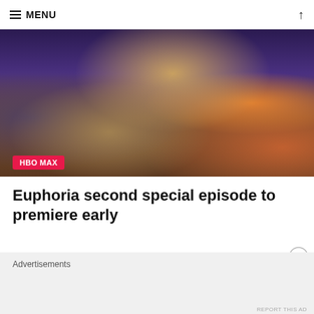≡ MENU
[Figure (photo): A young woman with long curly hair wearing a brown jacket stands in a crowded venue with blue ambient lighting. An HBO MAX badge appears in the lower left corner of the image.]
Euphoria second special episode to premiere early
Advertisements